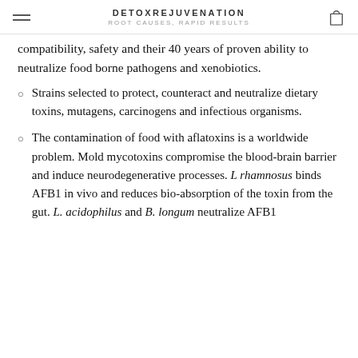DETOXREJUVENATION ROOT CAUSES, RAPID RESULTS
compatibility, safety and their 40 years of proven ability to neutralize food borne pathogens and xenobiotics.
Strains selected to protect, counteract and neutralize dietary toxins, mutagens, carcinogens and infectious organisms.
The contamination of food with aflatoxins is a worldwide problem. Mold mycotoxins compromise the blood-brain barrier and induce neurodegenerative processes. L rhamnosus binds AFB1 in vivo and reduces bio-absorption of the toxin from the gut. L. acidophilus and B. longum neutralize AFB1